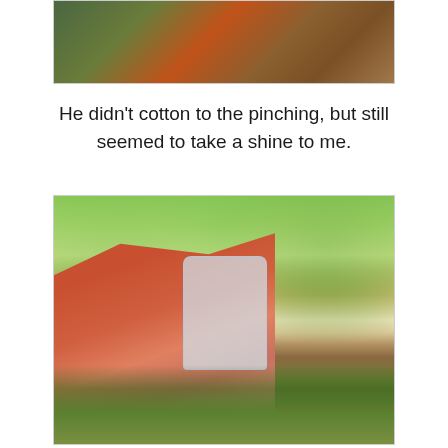[Figure (photo): Partial view of a person outdoors near plants/garden, cropped at top of page]
He didn't cotton to the pinching, but still seemed to take a shine to me.
[Figure (photo): Woman holding a camera up to her face photographing food/vegetables on an outdoor table, with a crystal glass goblet in the foreground and green garden background]